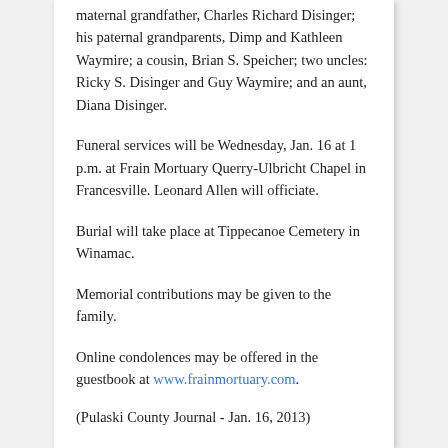maternal grandfather, Charles Richard Disinger; his paternal grandparents, Dimp and Kathleen Waymire; a cousin, Brian S. Speicher; two uncles: Ricky S. Disinger and Guy Waymire; and an aunt, Diana Disinger.
Funeral services will be Wednesday, Jan. 16 at 1 p.m. at Frain Mortuary Querry-Ulbricht Chapel in Francesville. Leonard Allen will officiate.
Burial will take place at Tippecanoe Cemetery in Winamac.
Memorial contributions may be given to the family.
Online condolences may be offered in the guestbook at www.frainmortuary.com.
(Pulaski County Journal - Jan. 16, 2013)
Beulah G. Sutton